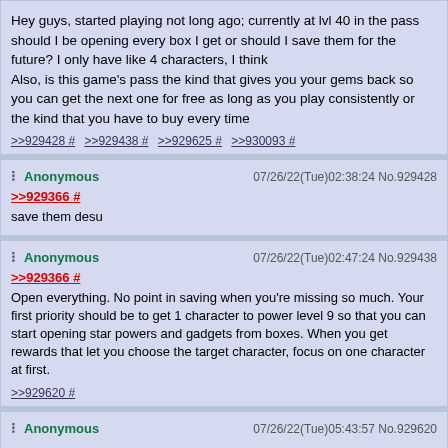Hey guys, started playing not long ago; currently at lvl 40 in the pass
should I be opening every box I get or should I save them for the future? I only have like 4 characters, I think
Also, is this game's pass the kind that gives you your gems back so you can get the next one for free as long as you play consistently or the kind that you have to buy every time
>>929428 # >>929438 # >>929625 # >>930093 #
Anonymous 07/26/22(Tue)02:38:24 No.929428
>>929366 #
save them desu
Anonymous 07/26/22(Tue)02:47:24 No.929438
>>929366 #
Open everything. No point in saving when you're missing so much. Your first priority should be to get 1 character to power level 9 so that you can start opening star powers and gadgets from boxes. When you get rewards that let you choose the target character, focus on one character at first.
>>929620 #
Anonymous 07/26/22(Tue)05:43:57 No.929620